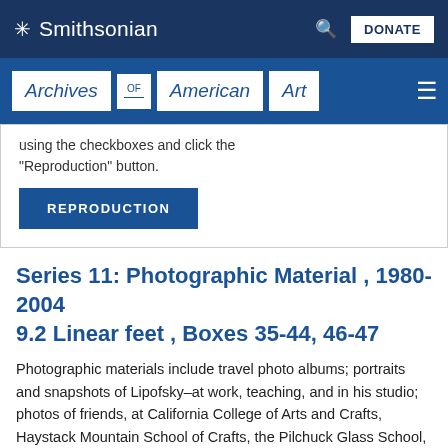Smithsonian
Archives of American Art
using the checkboxes and click the "Reproduction" button.
REPRODUCTION
Series 11: Photographic Material , 1980-2004
9.2 Linear feet , Boxes 35-44, 46-47
Photographic materials include travel photo albums; portraits and snapshots of Lipofsky–at work, teaching, and in his studio; photos of friends, at California College of Arts and Crafts, Haystack Mountain School of Crafts, the Pilchuck Glass School, and the University of Wisconsin; travel photographs; and photographs of